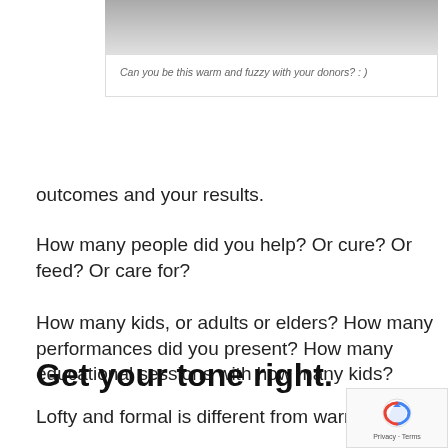[Figure (photo): Partial photo at top, partially cropped — warm/fuzzy image with donors]
Can you be this warm and fuzzy with your donors? : )
outcomes and your results.
How many people did you help? Or cure? Or feed? Or care for?
How many kids, or adults or elders? How many performances did you present? How many educational sessions with how many kids?
Get your tone right.
Lofty and formal is different from warm and f…